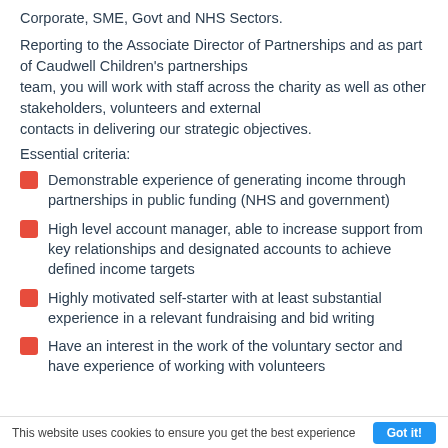Corporate, SME, Govt and NHS Sectors.
Reporting to the Associate Director of Partnerships and as part of Caudwell Children's partnerships team, you will work with staff across the charity as well as other stakeholders, volunteers and external contacts in delivering our strategic objectives.
Essential criteria:
Demonstrable experience of generating income through partnerships in public funding (NHS and government)
High level account manager, able to increase support from key relationships and designated accounts to achieve defined income targets
Highly motivated self-starter with at least substantial experience in a relevant fundraising and bid writing
Have an interest in the work of the voluntary sector and have experience of working with volunteers
This website uses cookies to ensure you get the best experience